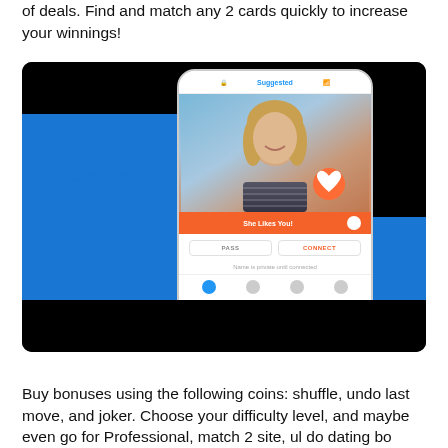of deals. Find and match any 2 cards quickly to increase your winnings!
[Figure (screenshot): Screenshot of a dating app (similar to OkCupid/Match) showing a phone mockup with a woman's profile photo, 'Matches who like you' text on blue background, 'She Likes You!' button in orange, PASS and CONNECT buttons, and navigation bar. Black bars at top and bottom of image area.]
Buy bonuses using the following coins: shuffle, undo last move, and joker. Choose your difficulty level, and maybe even go for Professional, match 2 site, ul do dating bo